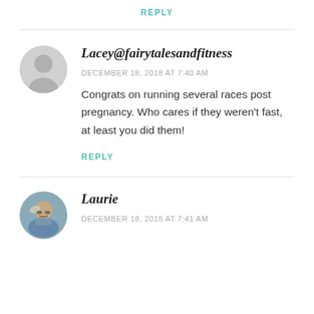REPLY
Lacey@fairytalesandfitness
DECEMBER 18, 2018 AT 7:40 AM
Congrats on running several races post pregnancy. Who cares if they weren't fast, at least you did them!
REPLY
Laurie
DECEMBER 18, 2018 AT 7:41 AM